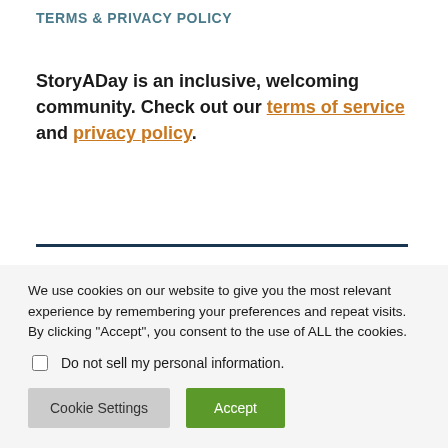TERMS & PRIVACY POLICY
StoryADay is an inclusive, welcoming community. Check out our terms of service and privacy policy.
[Figure (logo): Partial circular logo with gold/yellow color and text partially visible reading 'ITER'S DIG']
We use cookies on our website to give you the most relevant experience by remembering your preferences and repeat visits. By clicking "Accept", you consent to the use of ALL the cookies.
Do not sell my personal information.
Cookie Settings   Accept